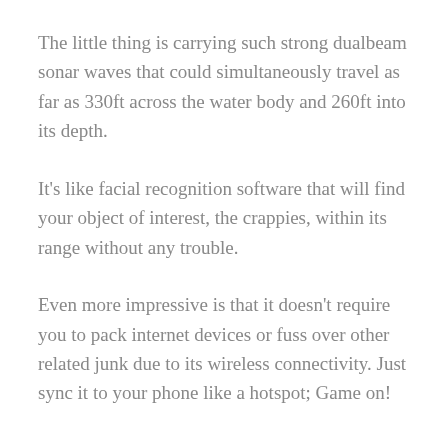The little thing is carrying such strong dualbeam sonar waves that could simultaneously travel as far as 330ft across the water body and 260ft into its depth.
It's like facial recognition software that will find your object of interest, the crappies, within its range without any trouble.
Even more impressive is that it doesn't require you to pack internet devices or fuss over other related junk due to its wireless connectivity. Just sync it to your phone like a hotspot; Game on!